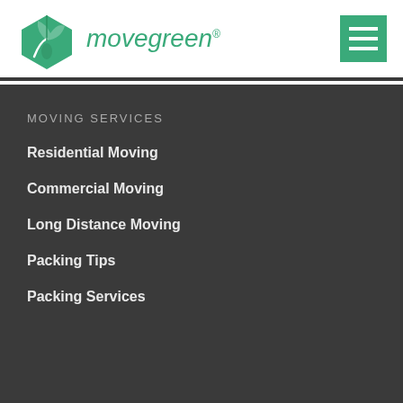[Figure (logo): Movegreen logo with green box and leaf icon, italic green text reading 'movegreen' with a superscript dot]
[Figure (other): Green hamburger menu button with three white horizontal lines]
MOVING SERVICES
Residential Moving
Commercial Moving
Long Distance Moving
Packing Tips
Packing Services